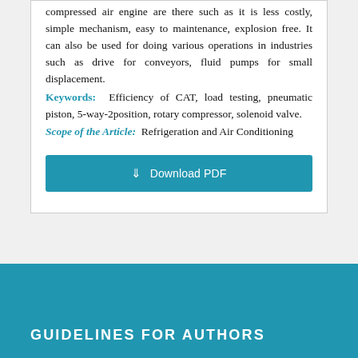compressed air engine are there such as it is less costly, simple mechanism, easy to maintenance, explosion free. It can also be used for doing various operations in industries such as drive for conveyors, fluid pumps for small displacement.
Keywords: Efficiency of CAT, load testing, pneumatic piston, 5-way-2position, rotary compressor, solenoid valve.
Scope of the Article: Refrigeration and Air Conditioning
[Figure (other): Download PDF button in teal/blue color]
GUIDELINES FOR AUTHORS